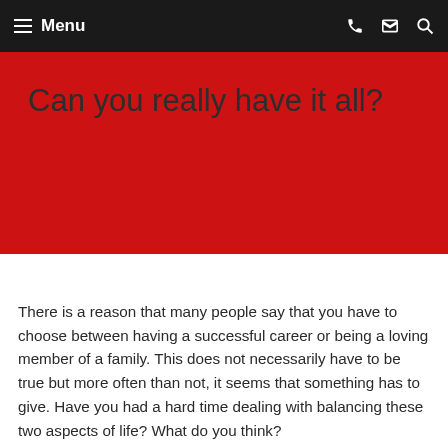Menu
Can you really have it all?
There is a reason that many people say that you have to choose between having a successful career or being a loving member of a family. This does not necessarily have to be true but more often than not, it seems that something has to give. Have you had a hard time dealing with balancing these two aspects of life? What do you think?